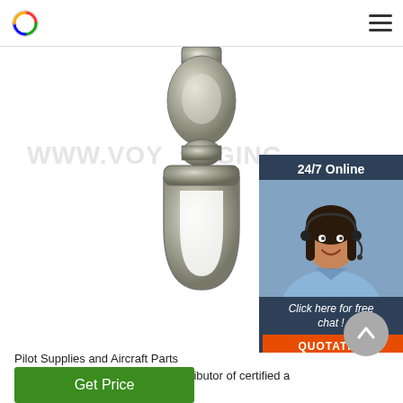[Figure (photo): A metal swivel rigging hardware component (galvanized steel) photographed against a white background, showing two linked oval rings joined by a swivel joint. Watermark text 'WWW.VOYRIGGING.' visible across the image.]
[Figure (photo): Chat widget with dark blue background showing '24/7 Online' header, a photo of a smiling woman with a headset (customer service representative), text 'Click here for free chat!' and an orange 'QUOTATION' button.]
Pilot Supplies and Aircraft Parts
Aircraft Spruce is a worldwide distributor of certified and homebuilt aircraft supplies.
Get Price